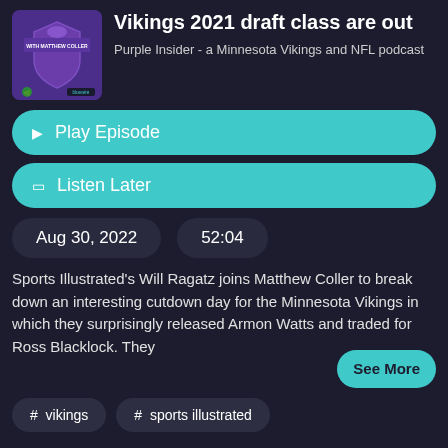[Figure (logo): Purple Insider podcast thumbnail with Matthew Coller branding, purple background with shield/logo icon and bluewire logo]
Vikings 2021 draft class are out
Purple Insider - a Minnesota Vikings and NFL podcast
▶ Play Episode
◻ Listen Later
Aug 30, 2022   52:04
Sports Illustrated's Will Ragatz joins Matthew Coller to break down an interesting cutdown day for the Minnesota Vikings in which they surprisingly released Armon Watts and traded for Ross Blacklock. They
See More
# vikings
# sports illustrated